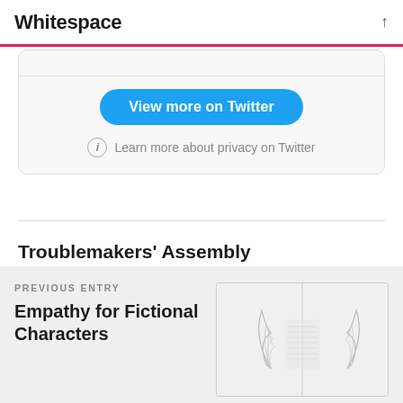Whitespace
[Figure (screenshot): Twitter widget card with 'View more on Twitter' button and 'Learn more about privacy on Twitter' link]
Troublemakers' Assembly
PREVIOUS ENTRY
Empathy for Fictional Characters
[Figure (illustration): Thumbnail image showing illustrated wing/feather motifs on white background, split into two panels]